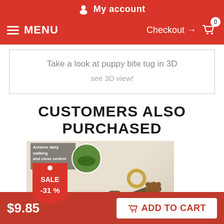My account
MENU   Checkout → 0
Take a look at puppy bite tug in 3D
see 3D view!
CUSTOMERS ALSO PURCHASED
[Figure (photo): Product photo of a dog leash with sale badge showing SALE -31%]
$9.85
ADD TO CART